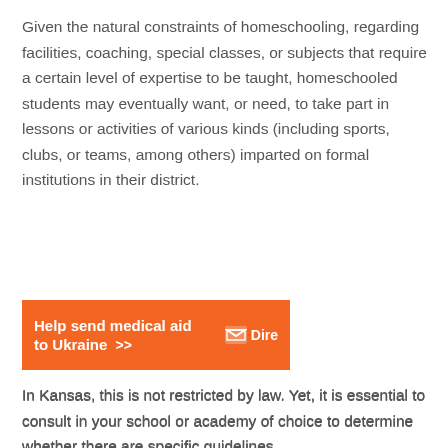Given the natural constraints of homeschooling, regarding facilities, coaching, special classes, or subjects that require a certain level of expertise to be taught, homeschooled students may eventually want, or need, to take part in lessons or activities of various kinds (including sports, clubs, or teams, among others) imparted on formal institutions in their district.
[Figure (other): Orange advertisement banner reading 'Help send medical aid to Ukraine >>' with a white logo icon and partial text 'Dire' on the right side]
In Kansas, this is not restricted by law. Yet, it is essential to consult in your school or academy of choice to determine whether there are specific guidelines